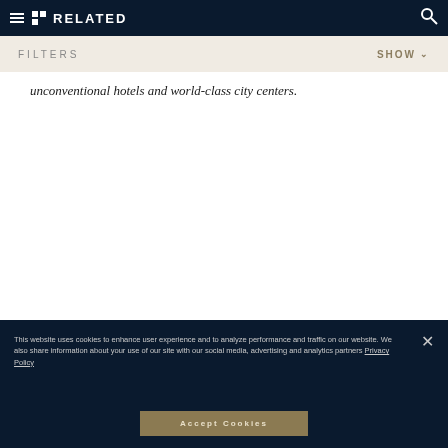RELATED
FILTERS   SHOW
unconventional hotels and world-class city centers.
This website uses cookies to enhance user experience and to analyze performance and traffic on our website. We also share information about your use of our site with our social media, advertising and analytics partners Privacy Policy
Accept Cookies